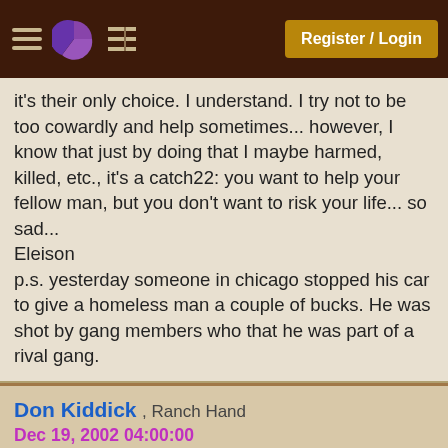Register / Login
it's their only choice. I understand. I try not to be too cowardly and help sometimes... however, I know that just by doing that I maybe harmed, killed, etc., it's a catch22: you want to help your fellow man, but you don't want to risk your life... so sad...
Eleison
p.s. yesterday someone in chicago stopped his car to give a homeless man a couple of bucks. He was shot by gang members who that he was part of a rival gang.
Don Kiddick , Ranch Hand
Dec 19, 2002 04:00:00
+Pie
Originally posted by Randall Twede:
just think about it for a minute. if you were a violent